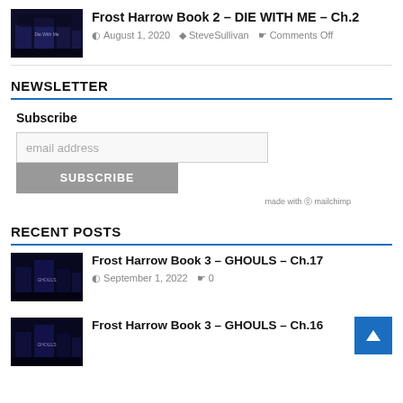[Figure (photo): Book cover thumbnail for Frost Harrow Book 2 - DIE WITH ME, dark blue/purple haunted house style]
Frost Harrow Book 2 – DIE WITH ME – Ch.2
August 1, 2020  SteveSullivan  Comments Off
NEWSLETTER
Subscribe
email address
SUBSCRIBE
made with Mailchimp
RECENT POSTS
[Figure (photo): Book cover thumbnail for Frost Harrow Book 3 - GHOULS, dark haunted house style]
Frost Harrow Book 3 – GHOULS – Ch.17
September 1, 2022  0
[Figure (photo): Book cover thumbnail for Frost Harrow Book 3 - GHOULS chapter 16, dark haunted house style]
Frost Harrow Book 3 – GHOULS – Ch.16